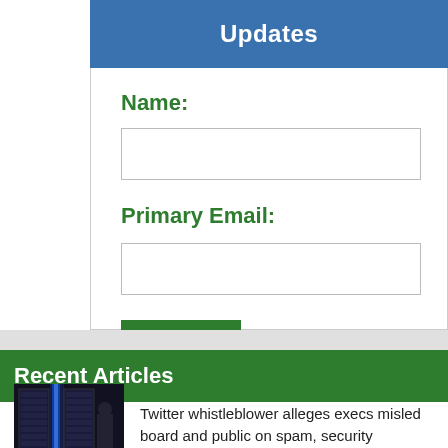Updates
Name:
Primary Email:
Submit
Recent Articles
Twitter whistleblower alleges execs misled board and public on spam, security